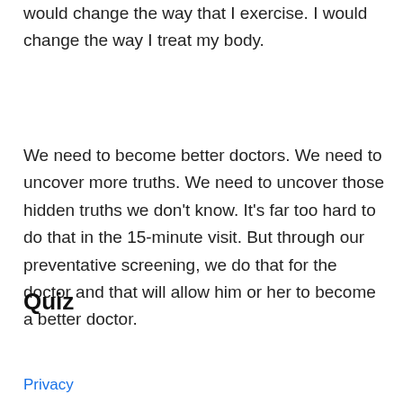would change the way that I exercise. I would change the way I treat my body.
We need to become better doctors. We need to uncover more truths. We need to uncover those hidden truths we don't know. It's far too hard to do that in the 15-minute visit. But through our preventative screening, we do that for the doctor and that will allow him or her to become a better doctor.
Quiz
Privacy